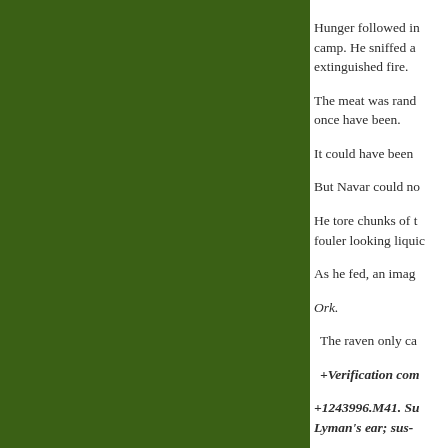[Figure (illustration): Large dark olive/forest green rectangular panel occupying the left portion of the page]
Hunger followed in... camp. He sniffed a... extinguished fire.
The meat was rand... once have been.
It could have been...
But Navar could no...
He tore chunks of t... fouler looking liquid...
As he fed, an imag...
Ork.
The raven only ca...
+Verification com...
+1243996.M41. Su... Lyman's ear; sus-...
Navar found the be...